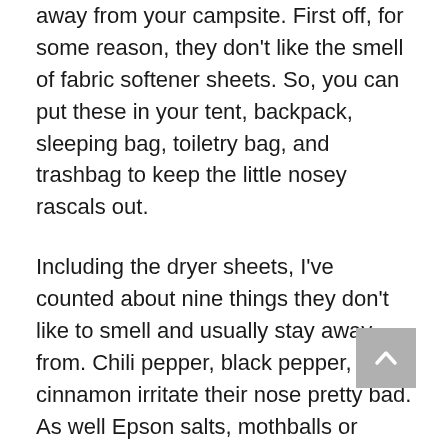away from your campsite. First off, for some reason, they don't like the smell of fabric softener sheets. So, you can put these in your tent, backpack, sleeping bag, toiletry bag, and trashbag to keep the little nosey rascals out.
Including the dryer sheets, I've counted about nine things they don't like to smell and usually stay away from. Chili pepper, black pepper, and cinnamon irritate their nose pretty bad. As well Epson salts, mothballs or flakes, garlic, peppermint, and onion.
You can apply these different ways. You can buy cayenne pepper in large bags and pour it around your campsite. Or you can buy cayenne pepper spray like